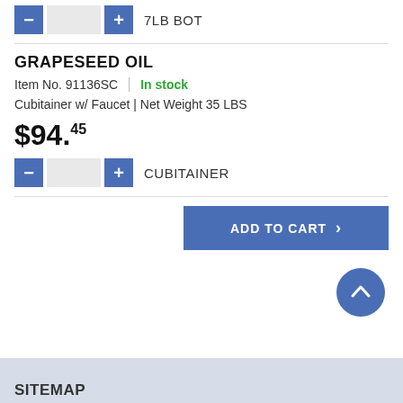7LB BOT
GRAPESEED OIL
Item No. 91136SC | In stock
Cubitainer w/ Faucet | Net Weight 35 LBS
$94.45
CUBITAINER
ADD TO CART
SITEMAP